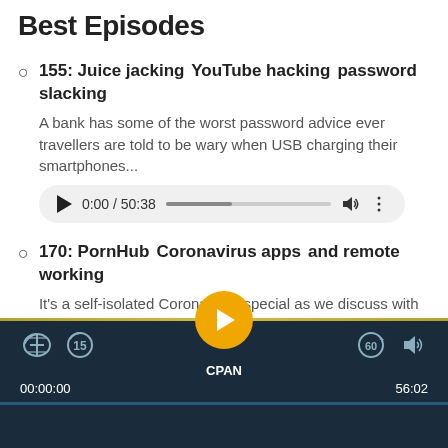Best Episodes
155: Juice jacking⁠ YouTube hacking⁠ password slacking
A bank has some of the worst password advice ever⁠ travellers are told to be wary when USB charging their smartphones...
170: PornHub⁠ Coronavirus apps⁠ and remote working
It's a self-isolated Coronavirus special as we discuss with our quarantined special guest how COVID-19 is making itse...
[Figure (screenshot): Podcast audio player bar at bottom showing play button, CPAN label, time 00:00:00, duration 56:02, with dark navy background and gold top border]